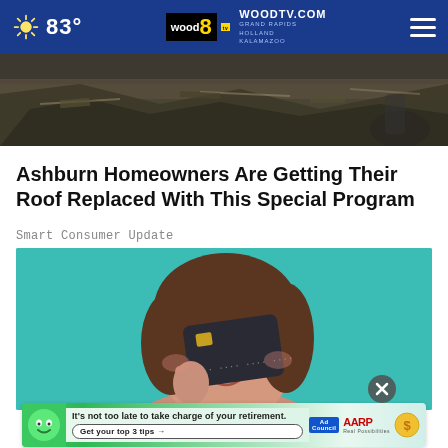83° | WOODTV.COM WOOD 8 GRAND RAPIDS HOLLAND KALAMAZOO
[Figure (photo): Top portion of a damaged roof with debris, dark tones]
Ashburn Homeowners Are Getting Their Roof Replaced With This Special Program
Smart Consumer Update
[Figure (photo): Woman holding a dark credit card over one eye against a teal background]
[Figure (infographic): Advertisement banner: It's not too late to take charge of your retirement. Get your top 3 tips → Ad Council AARP Real Possibilities]